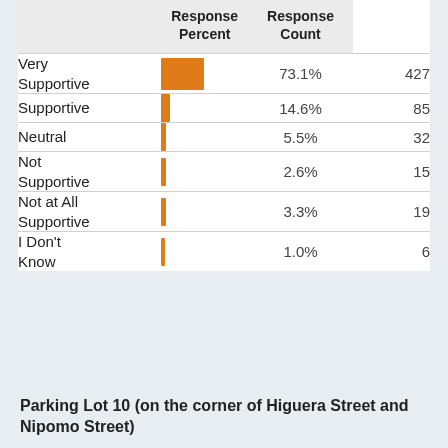|  | Response Percent | Response Count |
| --- | --- | --- |
| Very Supportive | 73.1% | 427 |
| Supportive | 14.6% | 85 |
| Neutral | 5.5% | 32 |
| Not Supportive | 2.6% | 15 |
| Not at All Supportive | 3.3% | 19 |
| I Don't Know | 1.0% | 6 |
Parking Lot 10 (on the corner of Higuera Street and Nipomo Street)